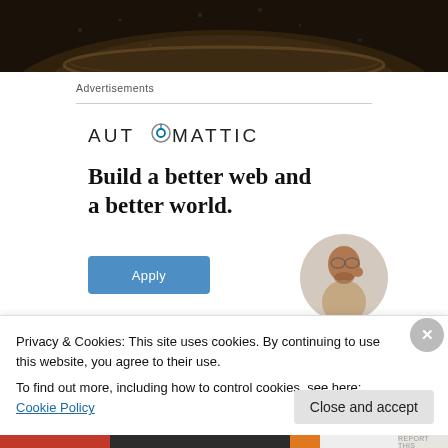[Figure (photo): Dark close-up photo of a bowl or cup interior, dark brown/black tones]
Advertisements
[Figure (logo): Automattic logo with compass/clock icon replacing the letter O]
Build a better web and a better world.
[Figure (illustration): Apply button (blue) and circular portrait photo of a man thinking]
Privacy & Cookies: This site uses cookies. By continuing to use this website, you agree to their use.
To find out more, including how to control cookies, see here: Cookie Policy
Close and accept